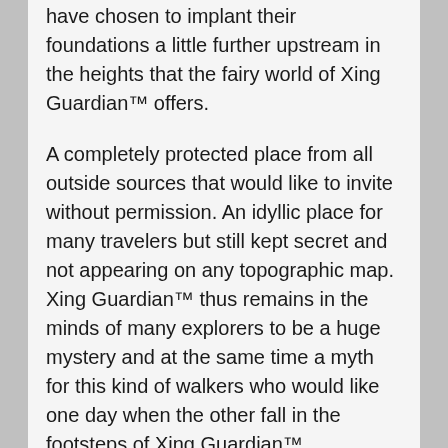have chosen to implant their foundations a little further upstream in the heights that the fairy world of Xing Guardian™ offers.
A completely protected place from all outside sources that would like to invite without permission. An idyllic place for many travelers but still kept secret and not appearing on any topographic map. Xing Guardian™ thus remains in the minds of many explorers to be a huge mystery and at the same time a myth for this kind of walkers who would like one day when the other fall in the footsteps of Xing Guardian™.
In this vast territory populated by animals unknown to the eyes of humans lies a charming princess with a light heart who would one day meet her Prince Charming. While waiting wisely for this